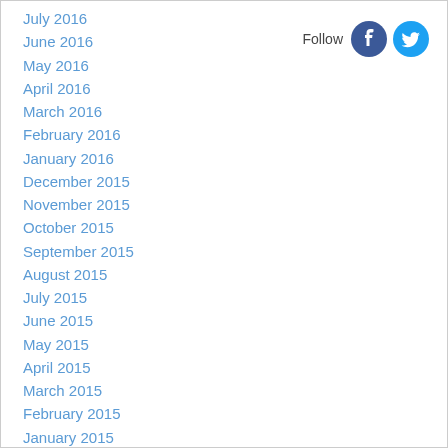July 2016
June 2016
May 2016
April 2016
March 2016
February 2016
January 2016
December 2015
November 2015
October 2015
September 2015
August 2015
July 2015
June 2015
May 2015
April 2015
March 2015
February 2015
January 2015
December 2014
November 2014
October 2014
Follow